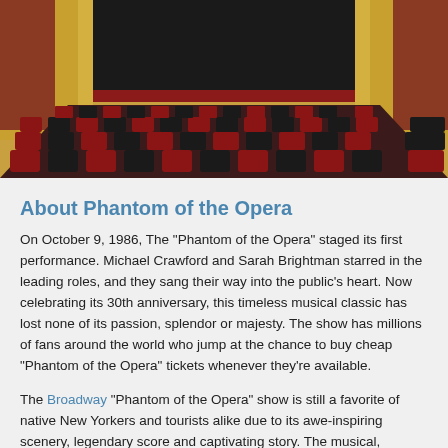[Figure (photo): Interior of an ornate opera house theater showing rows of red and black seats facing a large dark stage, with golden decorative walls and curtains.]
About Phantom of the Opera
On October 9, 1986, The "Phantom of the Opera" staged its first performance. Michael Crawford and Sarah Brightman starred in the leading roles, and they sang their way into the public's heart. Now celebrating its 30th anniversary, this timeless musical classic has lost none of its passion, splendor or majesty. The show has millions of fans around the world who jump at the chance to buy cheap "Phantom of the Opera" tickets whenever they're available.
The Broadway "Phantom of the Opera" show is still a favorite of native New Yorkers and tourists alike due to its awe-inspiring scenery, legendary score and captivating story. The musical,